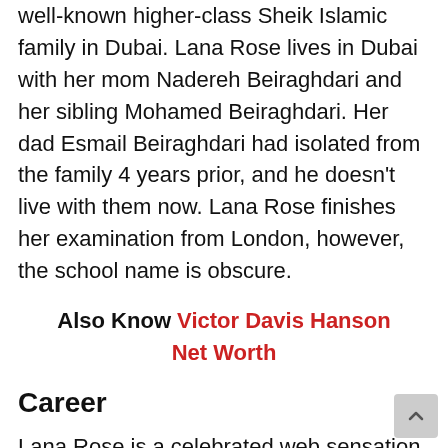well-known higher-class Sheik Islamic family in Dubai. Lana Rose lives in Dubai with her mom Nadereh Beiraghdari and her sibling Mohamed Beiraghdari. Her dad Esmail Beiraghdari had isolated from the family 4 years prior, and he doesn't live with them now. Lana Rose finishes her examination from London, however, the school name is obscure.
Also Know Victor Davis Hanson Net Worth
Career
Lana Rose is a celebrated web sensation from one side of the planet to the other.